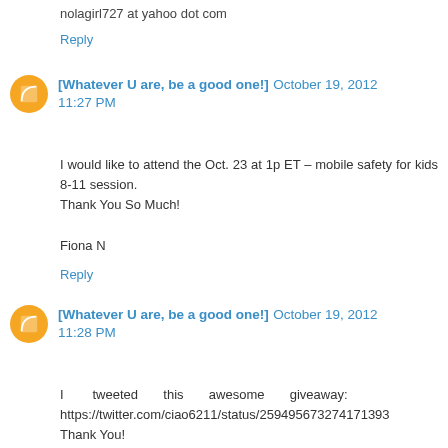nolagirl727 at yahoo dot com
Reply
[Whatever U are, be a good one!] October 19, 2012 11:27 PM
I would like to attend the Oct. 23 at 1p ET – mobile safety for kids 8-11 session.
Thank You So Much!

Fiona N
Reply
[Whatever U are, be a good one!] October 19, 2012 11:28 PM
I tweeted this awesome giveaway: https://twitter.com/ciao6211/status/259495673274171393
Thank You!